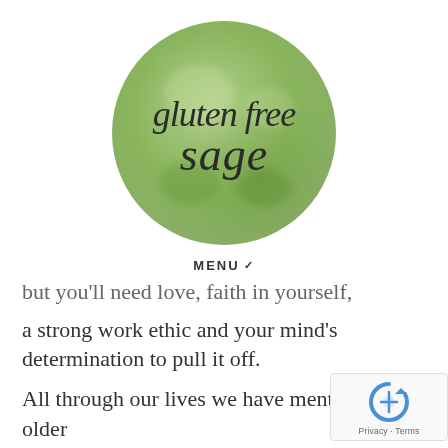[Figure (logo): Gluten Free Sage logo — a green watercolor circle with cursive script text reading 'gluten free sage']
MENU ∨
but you'll need love, faith in yourself, a strong work ethic and your mind's determination to pull it off.
All through our lives we have mentors. An older